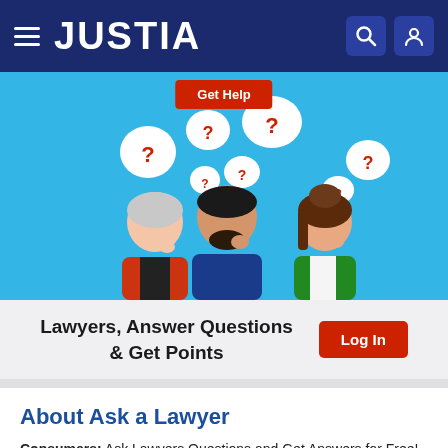JUSTIA
[Figure (illustration): Three people with question mark speech bubbles above their heads on a blue background, with a red 'Get Help' button at top center]
Lawyers, Answer Questions & Get Points
About Ask a Lawyer
Consumers: Ask Lawyers Questions and Get Answers for Free!
Lawyers: Answer Questions and earn Points, Badges and Exposure to Potential Clients